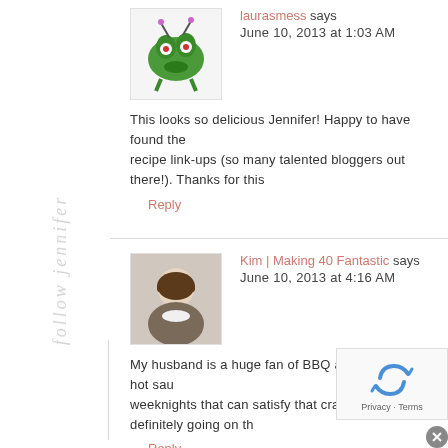laurasmess says
June 10, 2013 at 1:03 AM
This looks so delicious Jennifer! Happy to have found the recipe link-ups (so many talented bloggers out there!). Thanks for this
Reply
Kim | Making 40 Fantastic says
June 10, 2013 at 4:16 AM
My husband is a huge fan of BBQ anything and of hot sau weeknights that can satisfy that craving. This is definitely going on th
Reply